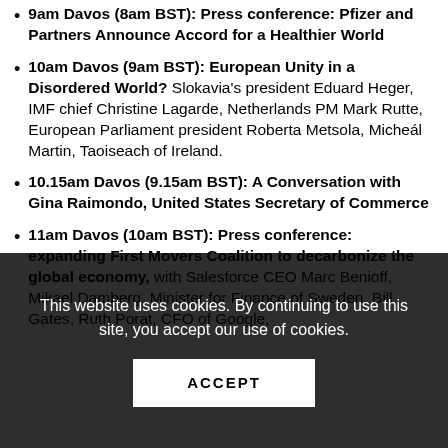9am Davos (8am BST): Press conference: Pfizer and Partners Announce Accord for a Healthier World
10am Davos (9am BST): European Unity in a Disordered World? Slokavia's president Eduard Heger, IMF chief Christine Lagarde, Netherlands PM Mark Rutte, European Parliament president Roberta Metsola, Micheál Martin, Taoiseach of Ireland.
10.15am Davos (9.15am BST): A Conversation with Gina Raimondo, United States Secretary of Commerce
11am Davos (10am BST): Press conference: expanding First Movers Coalition to decarbonize the global economy, with Salesforce CEO Marc Benioff, Mikael Damberg, Minister for Finance of Sweden, Bill Gates, Ruth Porat, CFO of Google,
This website uses cookies. By continuing to use this site, you accept our use of cookies.